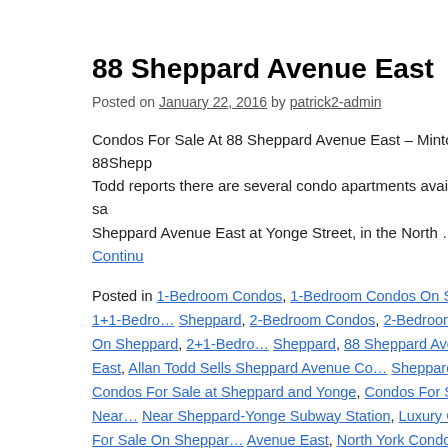88 Sheppard Avenue East
Posted on January 22, 2016 by patrick2-admin
Condos For Sale At 88 Sheppard Avenue East – Minto 88Shepp… Todd reports there are several condo apartments available for sa… Sheppard Avenue East at Yonge Street, in the North … Continue
Posted in 1-Bedroom Condos, 1-Bedroom Condos On Sheppard, 1+1-Bedro… Sheppard, 2-Bedroom Condos, 2-Bedroom Condos On Sheppard, 2+1-Bedro… Sheppard, 88 Sheppard Avenue East, Allan Todd Sells Sheppard Avenue Co… Sheppard, Condos For Sale at Sheppard and Yonge, Condos For Sale Near… Near Sheppard-Yonge Subway Station, Luxury Condos For Sale On Sheppar… Avenue East, North York Condos And Homes For Sale, North York Condos U… $450000, North York Condos Under $500000, North York Condos Under $55… North York Condos Under $650000, North York Condos Under $700000, Nor… Penthouse Condos at Bayview and Sheppard, Penthouse Condos For Sale In… Sheppard, Sheppard Avenue Condos Under $650000, Sheppard Condos Un… $450000, Sheppard Condos Under $500000, Sheppard Condos Under $5500… Sheppard Condos Under $650000, Sheppard Condos Under $700000, Toron… For Sale, Toronto Condos Under $425000, Toronto Condos Under $450000, … Condos Under $550000, Toronto Condos Under $600000, Toronto Condos U…